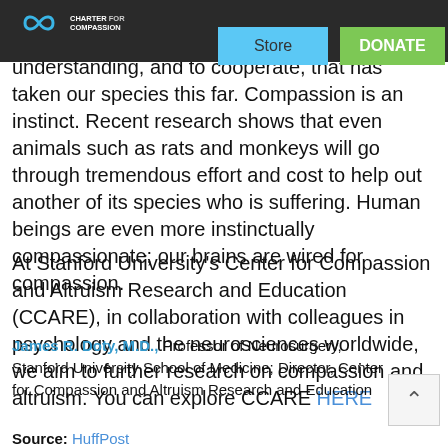Charter for Compassion | Store | DONATE
group, to support each other, to help each other, to communicate for mutual understanding, and to cooperate, that has taken our species this far. Compassion is an instinct. Recent research shows that even animals such as rats and monkeys will go through tremendous effort and cost to help out another of its species who is suffering. Human beings are even more instinctually compassionate; our brains are wired for compassion.
At Stanford University's Center for Compassion and Altruism Research and Education (CCARE), in collaboration with colleagues in psychology and the neurosciences worldwide, we aim to further research on compassion and altruism. You can explore CCARE HERE
James R. Doty, M.D., Professor of Neurosurgery, Stanford University School of Medicine; Director, Center for Compassion and Altruism Research and Education
Source: HuffPost